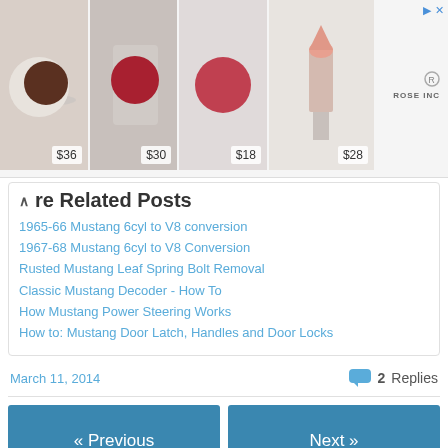[Figure (photo): Advertisement banner showing makeup products (eyeshadow compacts and lipstick) with prices $36, $30, $18, $28, and Rose Inc brand logo with navigation arrows]
More Related Posts
1965-66 Mustang 6cyl to V8 conversion
1967-68 Mustang 6cyl to V8 Conversion
Rusted Mustang Leaf Spring Bolt Removal
Classic Mustang Decoder - How To
How Mustang Power Steering Works
How to: Mustang Door Latch, Handles and Door Locks
March 11, 2014   2 Replies
« Previous
Next »
Leave a Reply